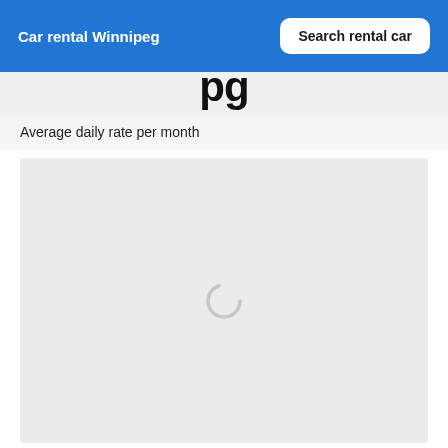Car rental Winnipeg
Average daily rate per month
[Figure (other): Loading spinner inside a light gray chart placeholder area, indicating content is still loading]